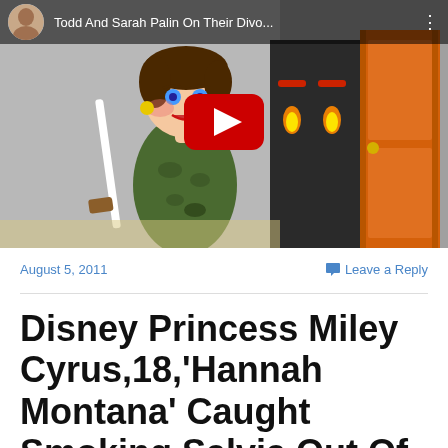[Figure (screenshot): YouTube video thumbnail showing an animated cartoon caricature of a woman in camouflage holding a rifle, with a dark doorway and orange door in the background. A YouTube play button overlay is shown in the center. The video bar at the top shows a male avatar and the text 'Todd And Sarah Palin On Their Divo...' with a vertical dots menu icon.]
August 5, 2011
Leave a Reply
Disney Princess Miley Cyrus,18,'Hannah Montana' Caught Smoking Salvia Out Of